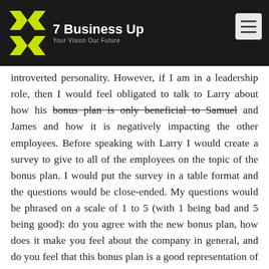7 Business Up — Your Vision Our Future
introverted personality. However, if I am in a leadership role, then I would feel obligated to talk to Larry about how his bonus plan is only beneficial to Samuel and James and how it is negatively impacting the other employees. Before speaking with Larry I would create a survey to give to all of the employees on the topic of the bonus plan. I would put the survey in a table format and the questions would be close-ended. My questions would be phrased on a scale of 1 to 5 (with 1 being bad and 5 being good): do you agree with the new bonus plan, how does it make you feel about the company in general, and do you feel that this bonus plan is a good representation of the efforts you have put in. Once I had collected all of the surveys I would create